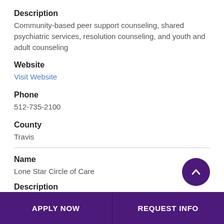Description
Community-based peer support counseling, shared psychiatric services, resolution counseling, and youth and adult counseling
Website
Visit Website
Phone
512-735-2100
County
Travis
Name
Lone Star Circle of Care
Description
APPLY NOW
REQUEST INFO